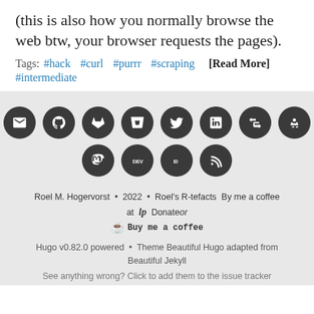(this is also how you normally browse the web btw, your browser requests the pages).
Tags: #hack  #curl  #purrr  #scraping  [Read More]  #intermediate
[Figure (other): Row of dark circular social media icon buttons: email, github, gitlab, bitbucket, twitter, linkedin, stackshare, roller. Second row: mastodon, dev.to, orcid, rss.]
Roel M. Hogervorst • 2022 • Roel's R-tefacts By me a coffee at Donate or Buy me a coffee
Hugo v0.82.0 powered • Theme Beautiful Hugo adapted from Beautiful Jekyll
See anything wrong? Click to add them to the issue tracker